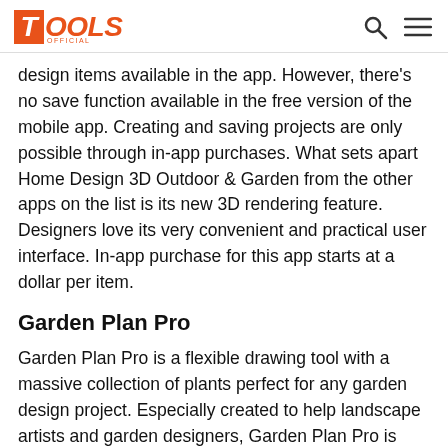TOOLS OFFICIAL
design items available in the app. However, there's no save function available in the free version of the mobile app. Creating and saving projects are only possible through in-app purchases. What sets apart Home Design 3D Outdoor & Garden from the other apps on the list is its new 3D rendering feature. Designers love its very convenient and practical user interface. In-app purchase for this app starts at a dollar per item.
Garden Plan Pro
Garden Plan Pro is a flexible drawing tool with a massive collection of plants perfect for any garden design project. Especially created to help landscape artists and garden designers, Garden Plan Pro is suited for users with any